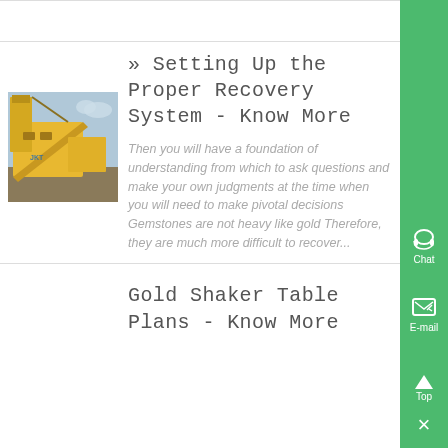[Figure (photo): Industrial mining or mineral processing machinery — large yellow conveyor/crusher plant with tower against a cloudy sky, labeled JKT]
» Setting Up the Proper Recovery System - Know More
Then you will have a foundation of understanding from which to ask questions and make your own judgments at the time when you will need to make pivotal decisions Gemstones are not heavy like gold Therefore, they are much more difficult to recover...
Gold Shaker Table Plans - Know More
[Figure (illustration): Sidebar chat icon (headset) with label 'Chat']
[Figure (illustration): Sidebar email icon with label 'E-mail']
[Figure (illustration): Sidebar up arrow icon with label 'Top']
[Figure (illustration): Sidebar close/X button]